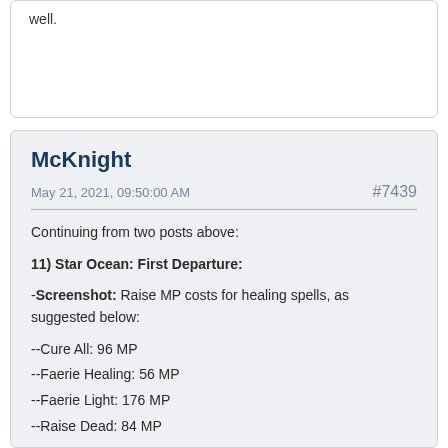well.
McKnight
May 21, 2021, 09:50:00 AM
#7439
Continuing from two posts above:
11) Star Ocean: First Departure:
-Screenshot: Raise MP costs for healing spells, as suggested below:
--Cure All: 96 MP
--Faerie Healing: 56 MP
--Faerie Light: 176 MP
--Raise Dead: 84 MP
-Enable the use of food in battle.
-Specify how much everything recovers (or deals), what percent of their actual HP or MP someone will regain from something